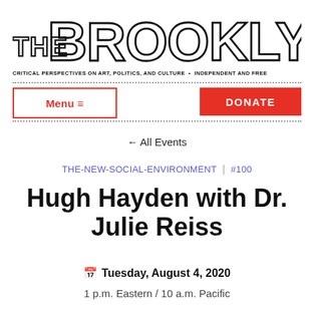[Figure (logo): The Brooklyn Rail logo in large outlined block letters]
CRITICAL PERSPECTIVES ON ART, POLITICS, AND CULTURE • INDEPENDENT AND FREE
Menu ≡
DONATE
← All Events
THE-NEW-SOCIAL-ENVIRONMENT | #100
Hugh Hayden with Dr. Julie Reiss
Tuesday, August 4, 2020
1 p.m. Eastern / 10 a.m. Pacific